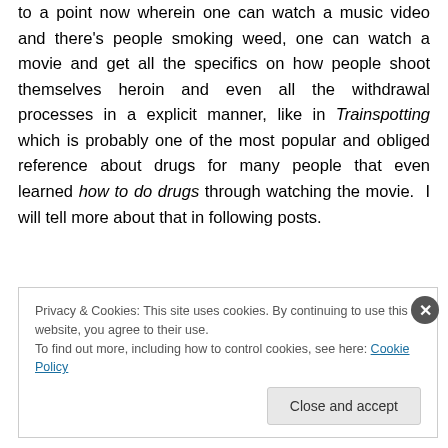to a point now wherein one can watch a music video and there's people smoking weed, one can watch a movie and get all the specifics on how people shoot themselves heroin and even all the withdrawal processes in a explicit manner, like in Trainspotting which is probably one of the most popular and obliged reference about drugs for many people that even learned how to do drugs through watching the movie.  I will tell more about that in following posts.
Privacy & Cookies: This site uses cookies. By continuing to use this website, you agree to their use. To find out more, including how to control cookies, see here: Cookie Policy